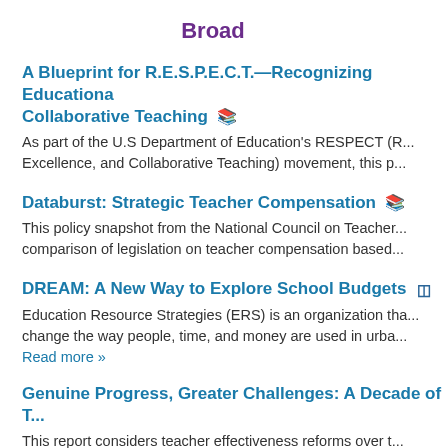Broad
A Blueprint for R.E.S.P.E.C.T.—Recognizing Educational... Collaborative Teaching
As part of the U.S Department of Education's RESPECT (R... Excellence, and Collaborative Teaching) movement, this p...
Databurst: Strategic Teacher Compensation
This policy snapshot from the National Council on Teacher... comparison of legislation on teacher compensation based...
DREAM: A New Way to Explore School Budgets
Education Resource Strategies (ERS) is an organization tha... change the way people, time, and money are used in urba...
Read more »
Genuine Progress, Greater Challenges: A Decade of T...
This report considers teacher effectiveness reforms over t... practices and policy that resulted from these reforms.